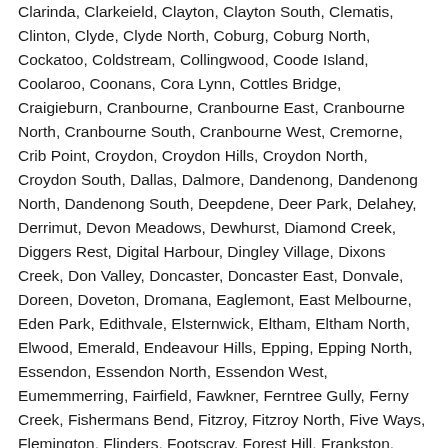Clarinda, Clarkeield, Clayton, Clayton South, Clematis, Clinton, Clyde, Clyde North, Coburg, Coburg North, Cockatoo, Coldstream, Collingwood, Coode Island, Coolaroo, Coonans, Cora Lynn, Cottles Bridge, Craigieburn, Cranbourne, Cranbourne East, Cranbourne North, Cranbourne South, Cranbourne West, Cremorne, Crib Point, Croydon, Croydon Hills, Croydon North, Croydon South, Dallas, Dalmore, Dandenong, Dandenong North, Dandenong South, Deepdene, Deer Park, Delahey, Derrimut, Devon Meadows, Dewhurst, Diamond Creek, Diggers Rest, Digital Harbour, Dingley Village, Dixons Creek, Don Valley, Doncaster, Doncaster East, Donvale, Doreen, Doveton, Dromana, Eaglemont, East Melbourne, Eden Park, Edithvale, Elsternwick, Eltham, Eltham North, Elwood, Emerald, Endeavour Hills, Epping, Epping North, Essendon, Essendon North, Essendon West, Eumemmerring, Fairfield, Fawkner, Ferntree Gully, Ferny Creek, Fishermans Bend, Fitzroy, Fitzroy North, Five Ways, Flemington, Flinders, Footscray, Forest Hill, Frankston, Frankston North, Frankston South, Garden City, Gardenvale, Garfield, Gembrook, Gladstone Park, Glen Huntly, Glen Iris, Glen Waverley, Glenferrie, Glenroy, Goonawarra, Gowanbrae, Greensborough, Greenvale, Greythorn, Gruyere, Guys Hill, Hadfield, Hallam, Hampton, Hampton East, Hampton Park, Harkaway, Hartwell, Hastings,